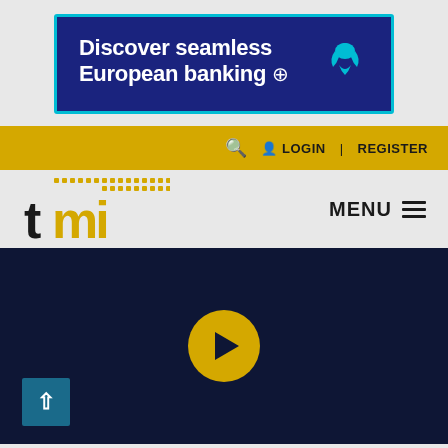[Figure (screenshot): Barclays bank advertisement banner with dark navy blue background and cyan border. Text reads 'Discover seamless European banking ⊕' in white bold text with Barclays eagle logo.]
🔍  LOGIN | REGISTER
[Figure (logo): TMI (Treasury Management International) logo with black 't' and yellow 'mi' letters with yellow dot pattern above]
MENU ≡
[Figure (screenshot): Dark navy background video player section with yellow circular play button in center and teal back-to-top arrow button at bottom left]